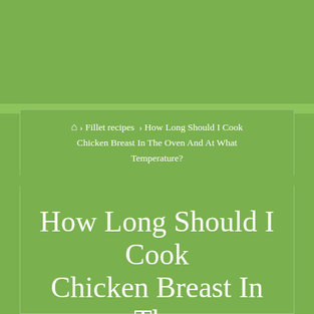🏠 › Fillet recipes › How Long Should I Cook Chicken Breast In The Oven And At What Temperature?
How Long Should I Cook Chicken Breast In The Oven And At What